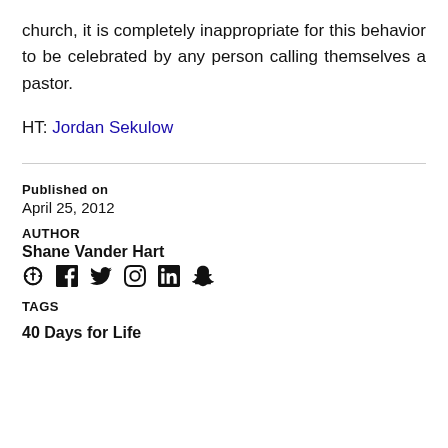church, it is completely inappropriate for this behavior to be celebrated by any person calling themselves a pastor.
HT: Jordan Sekulow
Published on
April 25, 2012
AUTHOR
Shane Vander Hart
TAGS
40 Days for Life